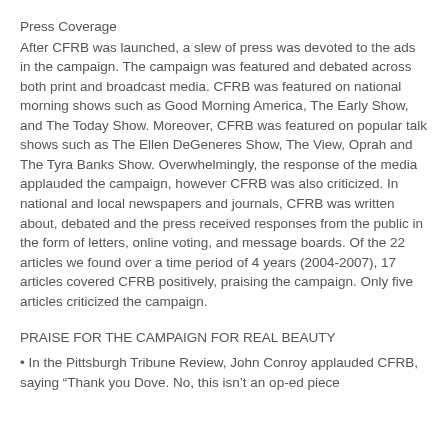Press Coverage
After CFRB was launched, a slew of press was devoted to the ads in the campaign. The campaign was featured and debated across both print and broadcast media. CFRB was featured on national morning shows such as Good Morning America, The Early Show, and The Today Show. Moreover, CFRB was featured on popular talk shows such as The Ellen DeGeneres Show, The View, Oprah and The Tyra Banks Show. Overwhelmingly, the response of the media applauded the campaign, however CFRB was also criticized. In national and local newspapers and journals, CFRB was written about, debated and the press received responses from the public in the form of letters, online voting, and message boards. Of the 22 articles we found over a time period of 4 years (2004-2007), 17 articles covered CFRB positively, praising the campaign. Only five articles criticized the campaign.
PRAISE FOR THE CAMPAIGN FOR REAL BEAUTY
• In the Pittsburgh Tribune Review, John Conroy applauded CFRB, saying “Thank you Dove. No, this isn’t an op-ed piece